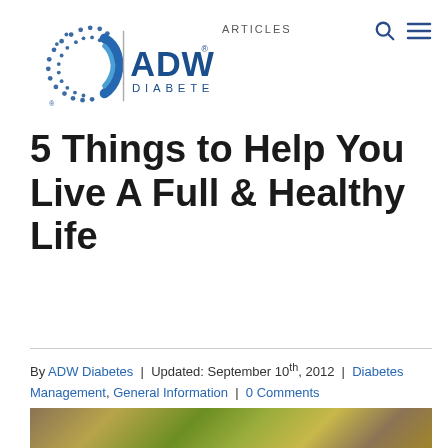[Figure (logo): ADW Diabetes logo with circular dot pattern and stylized 'C' shape icon, registered trademark symbol, text 'ADW DIABETES']
ARTICLES
5 Things to Help You Live A Full & Healthy Life
By ADW Diabetes | Updated: September 10th, 2012 | Diabetes Management, General Information | 0 Comments
[Figure (photo): Partial photo of green and yellow foliage/moss, cropped at bottom of page]